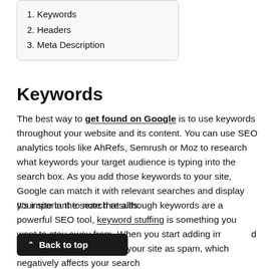1. Keywords
2. Headers
3. Meta Description
Keywords
The best way to get found on Google is to use keywords throughout your website and its content. You can use SEO analytics tools like AhRefs, Semrush or Moz to research what keywords your target audience is typing into the search box. As you add those keywords to your site, Google can match it with relevant searches and display your site in the search results.
It's important to note that although keywords are a powerful SEO tool, keyword stuffing is something you want to stay away from. When you start adding irrelevant keywords, Google will flag your site as spam, which negatively affects your search